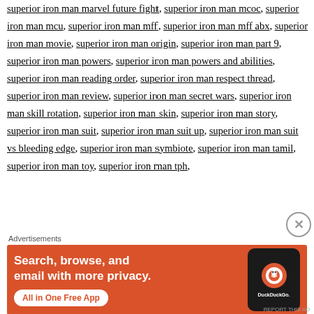superior iron man marvel future fight,
superior iron man mcoc, superior iron man mcu,
superior iron man mff, superior iron man mff abx,
superior iron man movie, superior iron man origin,
superior iron man part 9, superior iron man powers,
superior iron man powers and abilities,
superior iron man reading order,
superior iron man respect thread,
superior iron man review, superior iron man secret wars,
superior iron man skill rotation, superior iron man skin,
superior iron man story, superior iron man suit,
superior iron man suit up,
superior iron man suit vs bleeding edge,
superior iron man symbiote, superior iron man tamil,
superior iron man toy, superior iron man tph,
[Figure (screenshot): DuckDuckGo advertisement banner with orange background showing 'Search, browse, and email with more privacy. All in One Free App' with a phone mockup showing the DuckDuckGo logo]